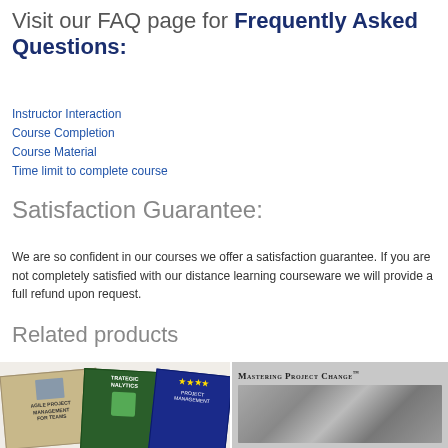Visit our FAQ page for Frequently Asked Questions:
Instructor Interaction
Course Completion
Course Material
Time limit to complete course
Satisfaction Guarantee:
We are so confident in our courses we offer a satisfaction guarantee. If you are not completely satisfied with our distance learning courseware we will provide a full refund upon request.
Related products
[Figure (photo): Stack of three books: Agile Project Management for Teams, Strategic Analytics, and a third book with colorful stars]
[Figure (photo): Mastering Project Change book cover with metallic/silver design]